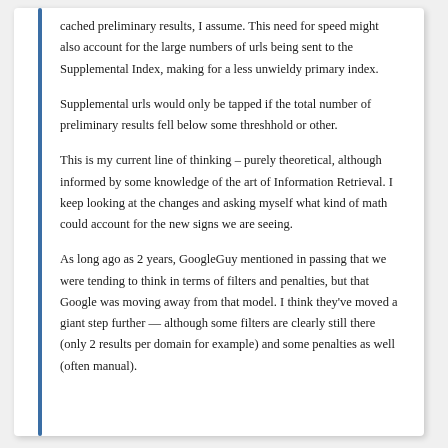cached preliminary results, I assume. This need for speed might also account for the large numbers of urls being sent to the Supplemental Index, making for a less unwieldy primary index.
Supplemental urls would only be tapped if the total number of preliminary results fell below some threshhold or other.
This is my current line of thinking – purely theoretical, although informed by some knowledge of the art of Information Retrieval. I keep looking at the changes and asking myself what kind of math could account for the new signs we are seeing.
As long ago as 2 years, GoogleGuy mentioned in passing that we were tending to think in terms of filters and penalties, but that Google was moving away from that model. I think they've moved a giant step further — although some filters are clearly still there (only 2 results per domain for example) and some penalties as well (often manual).